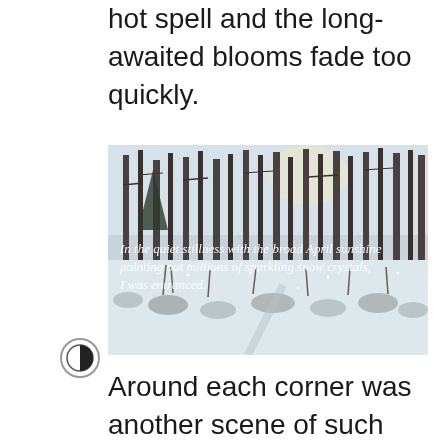hot spell and the long-awaited blooms fade too quickly.
[Figure (photo): Winter/spring garden scene with snow-covered ground and bare trees. White italic text overlay reads: 'In the quiet stillness with the broad April sunshine pointing out millions of sparkling snow crystals, I was entranced.']
Around each corner was another scene of such beauty that I kept trying to record these fleeting